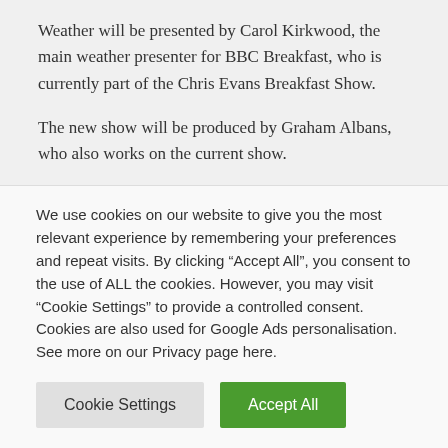Weather will be presented by Carol Kirkwood, the main weather presenter for BBC Breakfast, who is currently part of the Chris Evans Breakfast Show.
The new show will be produced by Graham Albans, who also works on the current show.
Zoe says: “I’m absolutely thrilled to be following in the giant footsteps of Chris Evans as the host of the Radio
We use cookies on our website to give you the most relevant experience by remembering your preferences and repeat visits. By clicking “Accept All”, you consent to the use of ALL the cookies. However, you may visit "Cookie Settings" to provide a controlled consent. Cookies are also used for Google Ads personalisation. See more on our Privacy page here.
Cookie Settings | Accept All